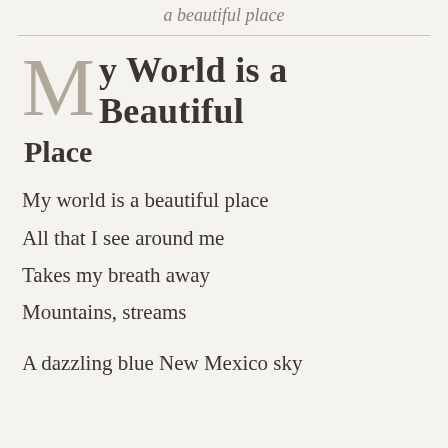a beautiful place
My World is a Beautiful Place
My world is a beautiful place
All that I see around me
Takes my breath away
Mountains, streams

A dazzling blue New Mexico sky